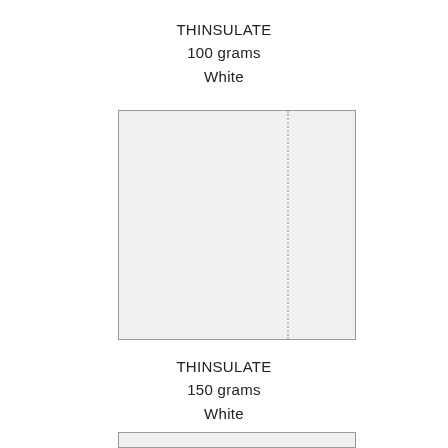THINSULATE
100 grams
White
[Figure (photo): Swatch sample of white Thinsulate 100 grams insulation material, rectangular, with a vertical dotted line near the right side of the sample.]
THINSULATE
150 grams
White
[Figure (photo): Partial view of the next swatch sample at the bottom of the page — white Thinsulate 150 grams material, cropped.]